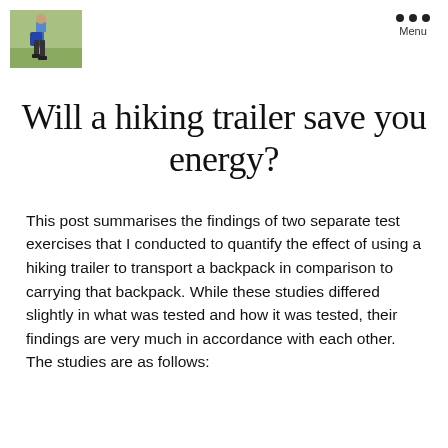[Figure (photo): Small square photo of a person hiking outdoors, carrying a backpack, in a wooded/grassy area.]
Will a hiking trailer save you energy?
This post summarises the findings of two separate test exercises that I conducted to quantify the effect of using a hiking trailer to transport a backpack in comparison to carrying that backpack. While these studies differed slightly in what was tested and how it was tested, their findings are very much in accordance with each other. The studies are as follows: